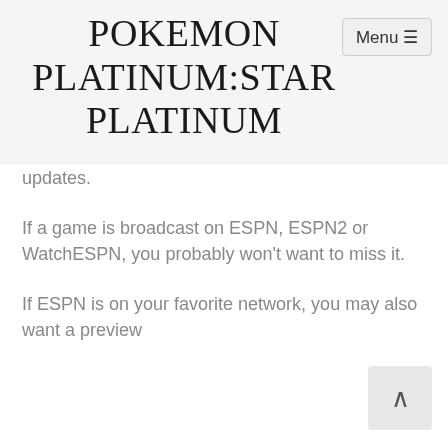POKEMON PLATINUM:STAR PLATINUM
updates.
If a game is broadcast on ESPN, ESPN2 or WatchESPN, you probably won't want to miss it.
If ESPN is on your favorite network, you may also want a preview